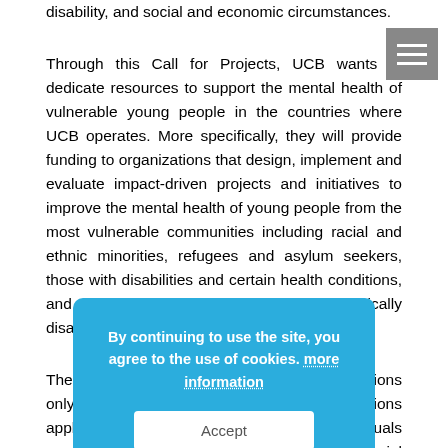disability, and social and economic circumstances.

Through this Call for Projects, UCB wants to dedicate resources to support the mental health of vulnerable young people in the countries where UCB operates. More specifically, they will provide funding to organizations that design, implement and evaluate impact-driven projects and initiatives to improve the mental health of young people from the most vulnerable communities including racial and ethnic minorities, refugees and asylum seekers, those with disabilities and certain health conditions, and those who are socio-economically disadvantaged.

The Call for Projects is intended for organizations only (local, national or international organizations applying for support of local initiatives), individuals cannot apply for funding. For-profit, commercial organizations, hospitals, and public bodies are also excluded from funding. The Call for Projects targets existing programs and services, as well as new projects and initiatives, outside of UCB's therapeutic areas. Organizations need to be
[Figure (other): Cookie consent overlay dialog with blue background, text reading 'By continuing to use the site, you agree to the use of cookies. more information' and a white Accept button.]